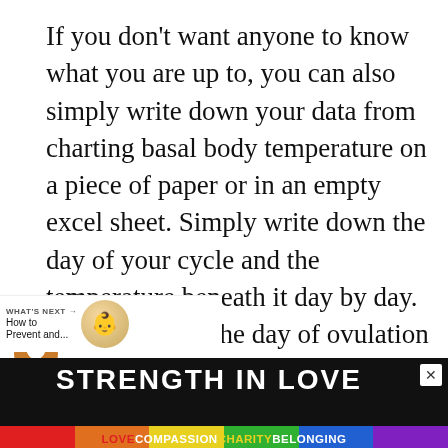If you don't want anyone to know what you are up to, you can also simply write down your data from charting basal body temperature on a piece of paper or in an empty excel sheet. Simply write down the day of your cycle and the temperature beneath it day by day. You then mark the day of ovulation and the day of menstruation. After a few cycles, you will easily be able to detect the temperature rise following ovulation (and the following additional rise during menstruation cycling.)
[Figure (infographic): Ad banner with rainbow colors, text STRENGTH IN LOVE, subtitle LOVE COMPASSION CHARITY BELONGING, and a close button]